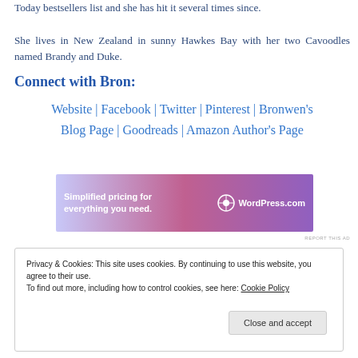Today bestsellers list and she has hit it several times since. She lives in New Zealand in sunny Hawkes Bay with her two Cavoodles named Brandy and Duke.
Connect with Bron:
Website | Facebook | Twitter | Pinterest | Bronwen's Blog Page | Goodreads | Amazon Author's Page
[Figure (other): WordPress.com advertisement banner: 'Simplified pricing for everything you need.']
REPORT THIS AD
Privacy & Cookies: This site uses cookies. By continuing to use this website, you agree to their use.
To find out more, including how to control cookies, see here: Cookie Policy